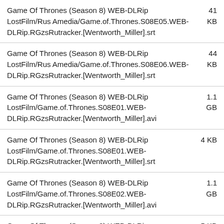Game Of Thrones (Season 8) WEB-DLRip LostFilm/Rus Amedia/Game.of.Thrones.S08E05.WEB-DLRip.RGzsRutracker.[Wentworth_Miller].srt
Game Of Thrones (Season 8) WEB-DLRip LostFilm/Rus Amedia/Game.of.Thrones.S08E06.WEB-DLRip.RGzsRutracker.[Wentworth_Miller].srt
Game Of Thrones (Season 8) WEB-DLRip LostFilm/Game.of.Thrones.S08E01.WEB-DLRip.RGzsRutracker.[Wentworth_Miller].avi
Game Of Thrones (Season 8) WEB-DLRip LostFilm/Game.of.Thrones.S08E01.WEB-DLRip.RGzsRutracker.[Wentworth_Miller].srt
Game Of Thrones (Season 8) WEB-DLRip LostFilm/Game.of.Thrones.S08E02.WEB-DLRip.RGzsRutracker.[Wentworth_Miller].avi
Game Of Thrones (Season 8) WEB-DLRip LostFilm/Game.of.Thrones.S08E02.WEB-DLRip.RGzsRutracker.[Wentworth_Miller].srt
Game Of Thrones (Season 8) WEB-DLRip